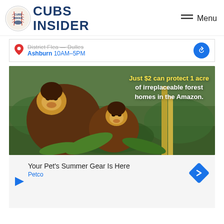CUBS INSIDER
[Figure (screenshot): Partial ad strip showing a location pin icon, strikethrough text, blue link text 'Ashburn 10AM–5PM', and a blue circular share icon]
[Figure (photo): Advertisement photo of two brown capuchin monkeys in a forest setting with text overlay: 'Just $2 can protect 1 acre of irreplaceable forest homes in the Amazon.']
[Figure (screenshot): Advertisement banner with text 'Your Pet's Summer Gear Is Here', brand 'Petco', a blue diamond arrow icon, and a play button triangle icon at bottom left]